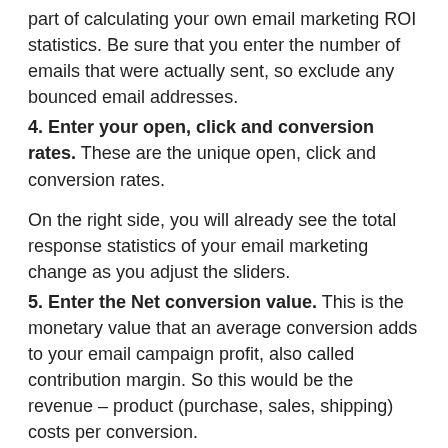part of calculating your own email marketing ROI statistics. Be sure that you enter the number of emails that were actually sent, so exclude any bounced email addresses.
4. Enter your open, click and conversion rates. These are the unique open, click and conversion rates.
On the right side, you will already see the total response statistics of your email marketing change as you adjust the sliders.
5. Enter the Net conversion value. This is the monetary value that an average conversion adds to your email campaign profit, also called contribution margin. So this would be the revenue – product (purchase, sales, shipping) costs per conversion.
6. Enter the total costs. This is the last part of the email marketing ROI formula.The total costs are all costs that can be attributed to your email marketing campaigns. This about costs like: CRM systems, your Email tools and license fees. You can add external costs of for instance an online marketing agency, and don't forget your Internal hours × hourly rate.